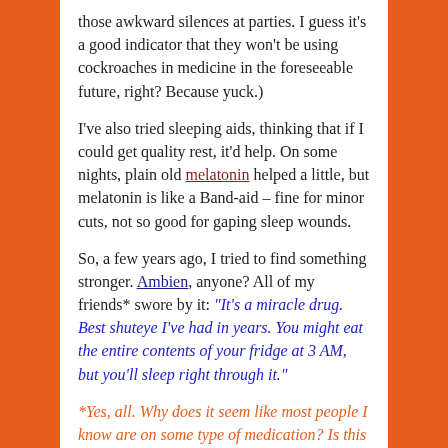those awkward silences at parties. I guess it’s a good indicator that they won’t be using cockroaches in medicine in the foreseeable future, right? Because yuck.)
I’ve also tried sleeping aids, thinking that if I could get quality rest, it’d help. On some nights, plain old melatonin helped a little, but melatonin is like a Band-aid – fine for minor cuts, not so good for gaping sleep wounds.
So, a few years ago, I tried to find something stronger. Ambien, anyone? All of my friends* swore by it: “It’s a miracle drug. Best shuteye I’ve had in years. You might eat the entire contents of your fridge at 3 AM, but you’ll sleep right through it.”
*Yes, all. Why does it seem like most people I know are on some type of medication? Is this true in your circle, too? Maybe we all send off invisible signals to one another, an unlisted side effect attracting us together like magnets.